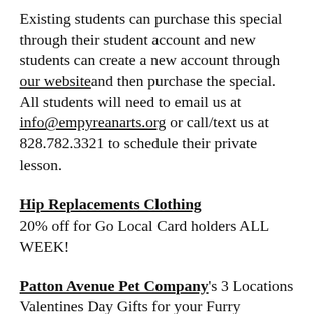Existing students can purchase this special through their student account and new students can create a new account through our website and then purchase the special. All students will need to email us at info@empyreanarts.org or call/text us at 828.782.3321 to schedule their private lesson.
Hip Replacements Clothing
20% off for Go Local Card holders ALL WEEK!
Patton Avenue Pet Company's 3 Locations Valentines Day Gifts for your Furry Valentine 109 Patton Avenue, 1388 Patton Ave. & 583 Hendersonville Rd. Asheville, NC 10:00 AM – 7:00 PM ♥ ALL WEEK gifts for your Furry Valentines are available at all 3 stores!! ♥ Valentine's Day Barquets are full of delicious chews for your dogs. Step in to